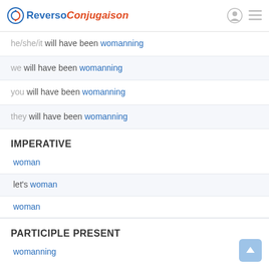Reverso Conjugaison
he/she/it will have been womanning
we will have been womanning
you will have been womanning
they will have been womanning
IMPERATIVE
woman
let's woman
woman
PARTICIPLE PRESENT
womanning